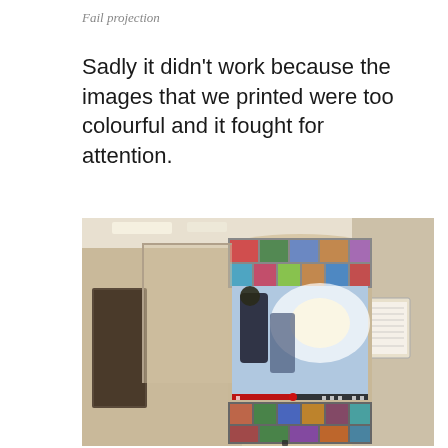Fail projection
Sadly it didn’t work because the images that we printed were too colourful and it fought for attention.
[Figure (photo): A hallway with a cylindrical column wrapped in printed photographic collage images, with a video projected onto it showing people, a YouTube-style player bar visible. A small sign is on the wall to the right. The corridor recedes to the left showing ceiling lights and a door.]